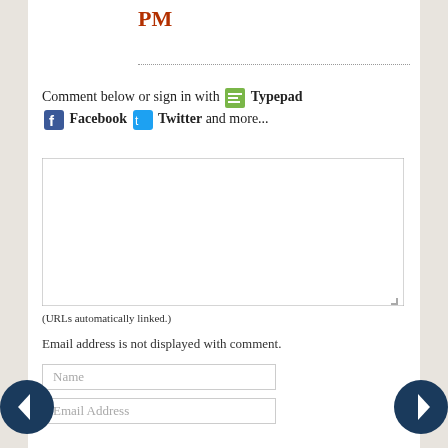PM
Comment below or sign in with Typepad Facebook Twitter and more...
[Figure (other): Comment text area input box]
(URLs automatically linked.)
Email address is not displayed with comment.
Name
Email Address